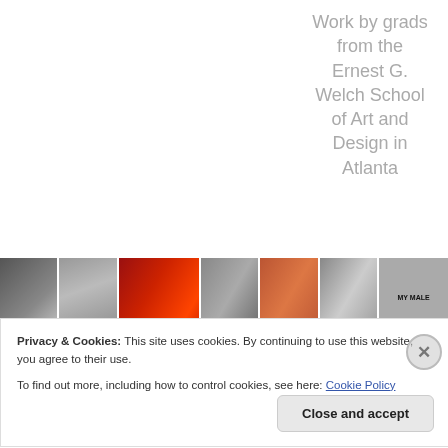Work by grads from the Ernest G. Welch School of Art and Design in Atlanta
[Figure (photo): A horizontal strip of gallery photographs showing various artworks displayed on walls, including a red abstract painting, colored panels, a city photograph, and a sign reading MY MALE.]
Privacy & Cookies: This site uses cookies. By continuing to use this website, you agree to their use.
To find out more, including how to control cookies, see here: Cookie Policy
Close and accept